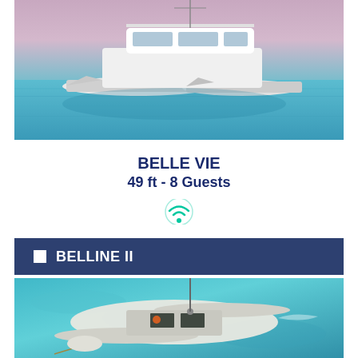[Figure (photo): Aerial or side view of a catamaran sailboat on turquoise water]
BELLE VIE
49 ft - 8 Guests
[Figure (other): WiFi icon in teal/green color]
BELLINE II
[Figure (photo): Aerial top-down view of a white catamaran on clear turquoise water]